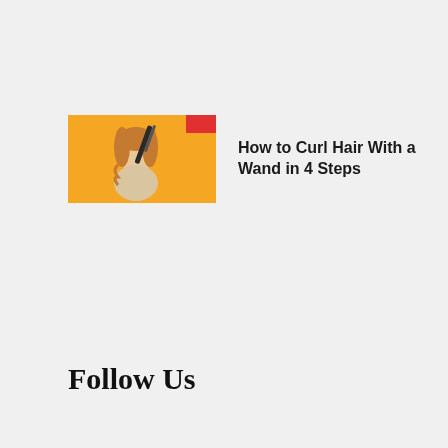[Figure (photo): Thumbnail image showing a woman with curly hair holding a styling wand against a yellow/orange background]
How to Curl Hair With a Wand in 4 Steps
Follow Us